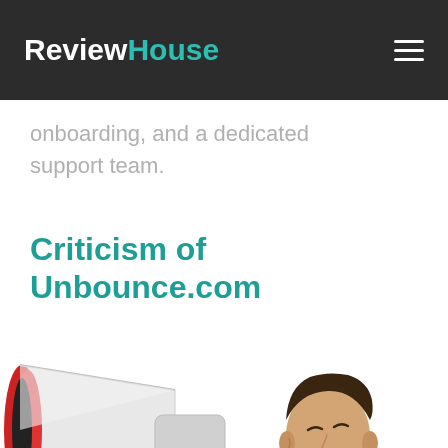ReviewHouse
onboarding, and a dedicated support team.
Criticism of Unbounce.com
[Figure (photo): A man in a blue t-shirt shouting into a white and red megaphone/bullhorn, photographed against a white background. The image is cropped showing the man from approximately the waist up, holding the megaphone to the left side of the frame.]